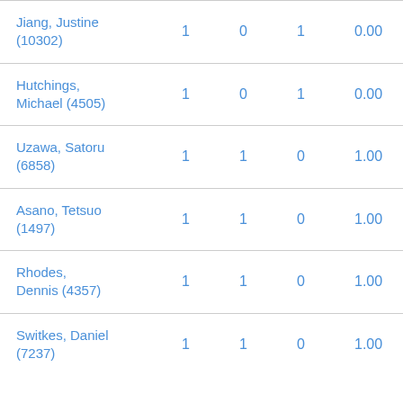| Jiang, Justine (10302) | 1 | 0 | 1 | 0.00 |
| Hutchings, Michael (4505) | 1 | 0 | 1 | 0.00 |
| Uzawa, Satoru (6858) | 1 | 1 | 0 | 1.00 |
| Asano, Tetsuo (1497) | 1 | 1 | 0 | 1.00 |
| Rhodes, Dennis (4357) | 1 | 1 | 0 | 1.00 |
| Switkes, Daniel (7237) | 1 | 1 | 0 | 1.00 |